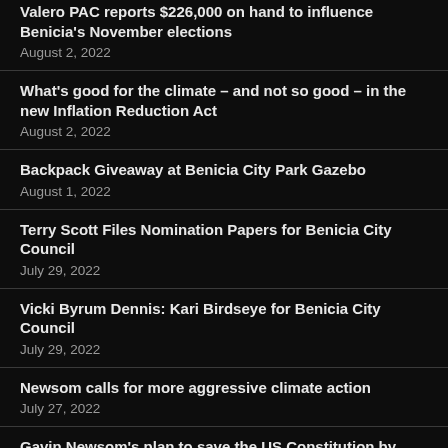Valero PAC reports $226,000 on hand to influence Benicia's November elections
August 2, 2022
What's good for the climate – and not so good – in the new Inflation Reduction Act
August 2, 2022
Backpack Giveaway at Benicia City Park Gazebo
August 1, 2022
Terry Scott Files Nomination Papers for Benicia City Council
July 29, 2022
Vicki Byrum Dennis: Kari Birdseye for Benicia City Council
July 29, 2022
Newsom calls for more aggressive climate action
July 27, 2022
Gavin Newsom's plan to save the US Constitution by trolling the Supreme Court
July 27, 2022
Housing in Benicia – Former Mayor Elizabeth Patterson
July 27, 2022